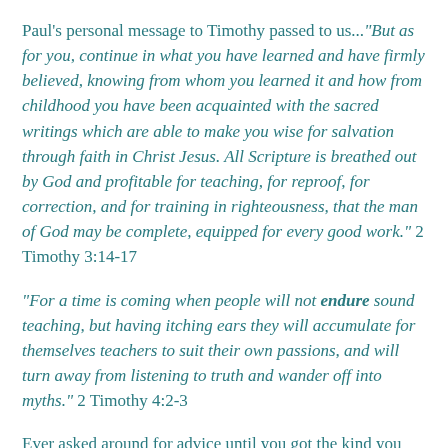Paul's personal message to Timothy passed to us..."But as for you, continue in what you have learned and have firmly believed, knowing from whom you learned it and how from childhood you have been acquainted with the sacred writings which are able to make you wise for salvation through faith in Christ Jesus.  All Scripture is breathed out by God and profitable for teaching, for reproof, for correction, and for training in righteousness, that the man of God may be complete, equipped for every good work." 2 Timothy 3:14-17
"For a time is coming when people will not endure sound teaching, but having itching ears they will accumulate for themselves teachers to suit their own passions, and will turn away from listening to truth and wander off into myths." 2 Timothy 4:2-3
Ever asked around for advice until you got the kind you